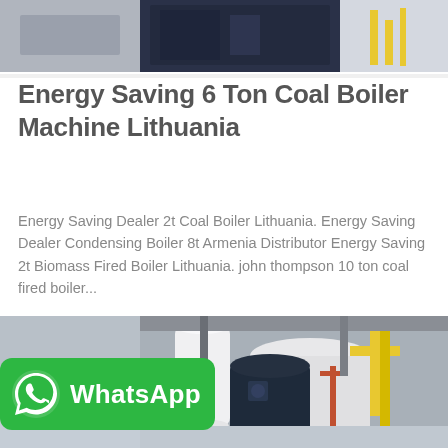[Figure (photo): Industrial boiler machine equipment, dark blue/grey machinery in a facility setting]
Energy Saving 6 Ton Coal Boiler Machine Lithuania
Energy Saving Dealer 2t Coal Boiler Lithuania. Energy Saving Dealer Condensing Boiler 8t Armenia Distributor Energy Saving 2t Biomass Fired Boiler Lithuania. john thompson 10 ton coal fired boiler...
[Figure (other): Get Price button - cyan/teal rounded rectangle button]
[Figure (photo): Industrial boiler room with large cylindrical boiler tanks, yellow gas pipes, and industrial equipment]
[Figure (other): WhatsApp badge - green rounded rectangle with WhatsApp logo and text]